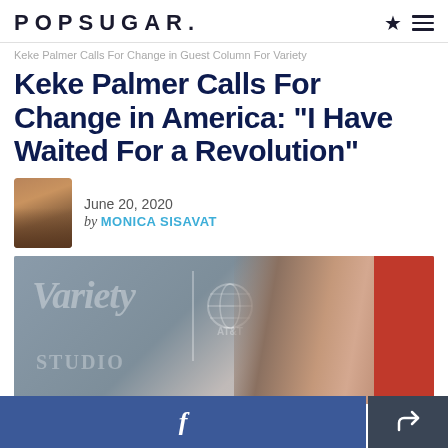POPSUGAR.
Keke Palmer Calls For Change in Guest Column For Variety
Keke Palmer Calls For Change in America: "I Have Waited For a Revolution"
June 20, 2020
by MONICA SISAVAT
[Figure (photo): Photo of Keke Palmer at the Variety Studio event, with the Variety Studio logo and AT&T logo visible in the background. A red wall is visible on the right side.]
Facebook share button and general share button